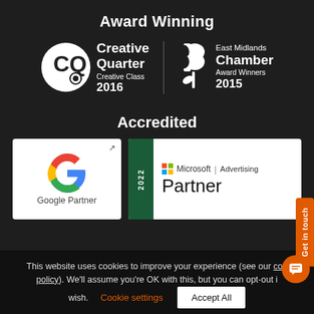Award Winning
[Figure (logo): Creative Quarter logo with CQ monogram circle icon and text: Creative Quarter Creative Class 2016]
[Figure (logo): East Midlands Chamber logo with stylized leaf/sprout icon and text: East Midlands Chamber Award Winners 2015]
Accredited
[Figure (logo): Google Partner badge with Google G colorful logo and text 'Google Partner' on white background]
[Figure (logo): Microsoft Advertising Partner 2022 badge with Microsoft logo on white background with green left bar]
This website uses cookies to improve your experience (see our cookie policy). We'll assume you're OK with this, but you can opt-out if you wish.
Cookie settings
Accept All